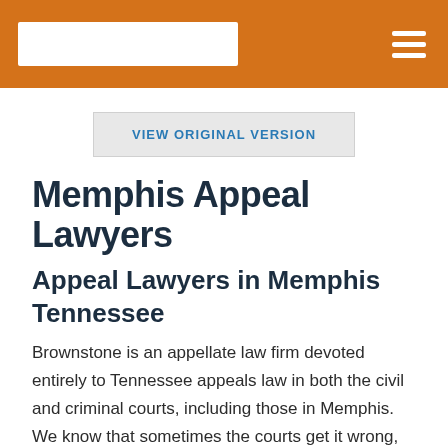[Logo] [Navigation menu]
VIEW ORIGINAL VERSION
Memphis Appeal Lawyers
Appeal Lawyers in Memphis Tennessee
Brownstone is an appellate law firm devoted entirely to Tennessee appeals law in both the civil and criminal courts, including those in Memphis. We know that sometimes the courts get it wrong, and we want to help